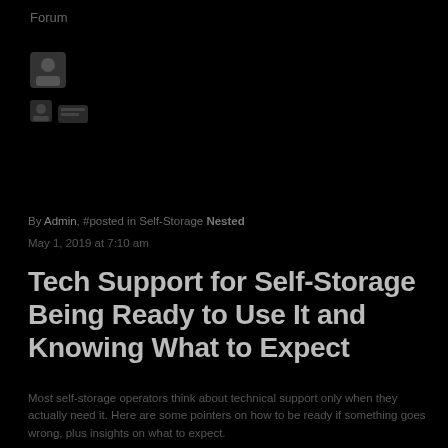Forum
[Figure (other): User avatar icon and two small thumbnail icons below it]
By Admin, #posted in Self-Storage Nested
May 1, 2019 at 7:10 am
Tech Support for Self-Storage Being Ready to Use It and Knowing What to Expect
Most self-storage operators think about technical support only when they actually need it. Here are some pointers on how to be ready if something goes wrong, plus insights on what to expect.